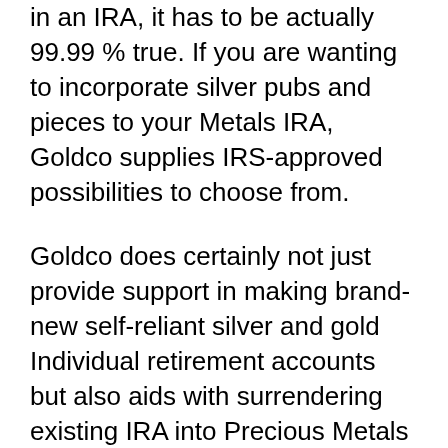in an IRA, it has to be actually 99.99% true. If you are wanting to incorporate silver pubs and pieces to your Metals IRA, Goldco supplies IRS-approved possibilities to choose from.
Goldco does certainly not just provide support in making brand-new self-reliant silver and gold Individual retirement accounts but also aids with surrendering existing IRA into Precious Metals IRA. Many pension are actually entitled for a roll-over. A representative coming from the firm can easily assist you and also give you along with additional details concerning the procedure.
Goldco’s Silver and gold IRAs possess the